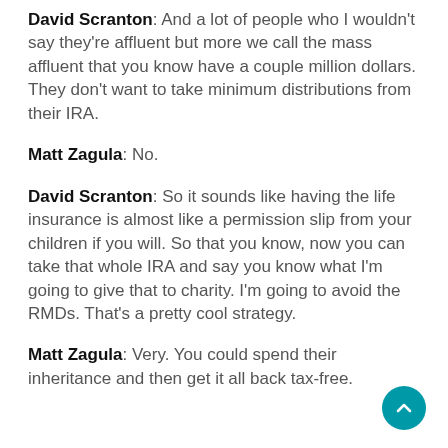David Scranton: And a lot of people who I wouldn't say they're affluent but more we call the mass affluent that you know have a couple million dollars. They don't want to take minimum distributions from their IRA.
Matt Zagula: No.
David Scranton: So it sounds like having the life insurance is almost like a permission slip from your children if you will. So that you know, now you can take that whole IRA and say you know what I'm going to give that to charity. I'm going to avoid the RMDs. That's a pretty cool strategy.
Matt Zagula: Very. You could spend their inheritance and then get it all back tax-free.